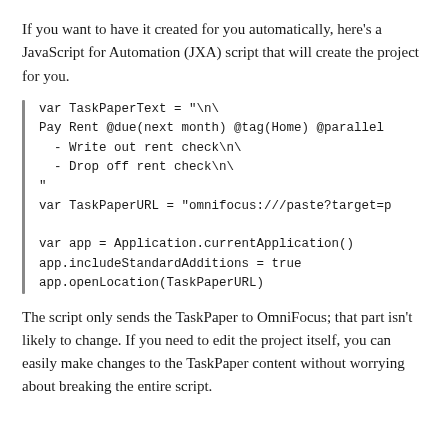If you want to have it created for you automatically, here's a JavaScript for Automation (JXA) script that will create the project for you.
[Figure (other): Code block with a left vertical bar, containing JXA JavaScript code: var TaskPaperText, var TaskPaperURL, var app, app.includeStandardAdditions, app.openLocation]
The script only sends the TaskPaper to OmniFocus; that part isn't likely to change. If you need to edit the project itself, you can easily make changes to the TaskPaper content without worrying about breaking the entire script.